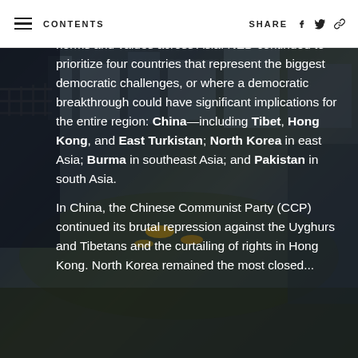≡ CONTENTS   SHARE
[Figure (photo): Protest crowd scene in an Asian city, people with yellow umbrellas visible, urban buildings in background, viewed from an elevated position]
partners while attempting to re-establish democratic norms and values across Asia. NED continued to prioritize four countries that represent the biggest democratic challenges, or where a democratic breakthrough could have significant implications for the entire region: China—including Tibet, Hong Kong, and East Turkistan; North Korea in east Asia; Burma in southeast Asia; and Pakistan in south Asia.
In China, the Chinese Communist Party (CCP) continued its brutal repression against the Uyghurs and Tibetans and the curtailing of rights in Hong Kong. North Korea remained the most closed...